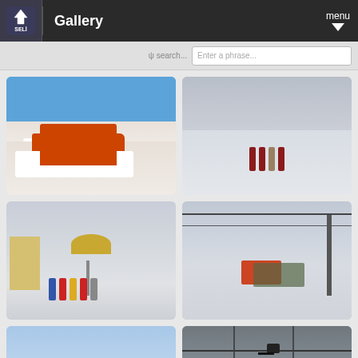Gallery
[Figure (photo): Orange snow groomer / piste basher machine on snowy ski slope under blue sky]
[Figure (photo): Four people in ski gear/instructor uniforms standing on snow with ski lift cables in background]
[Figure (photo): Group of people in ski instructor uniforms standing in front of large satellite dish on snowy mountain]
[Figure (photo): Aerial view of ski resort with red-roofed buildings, ski lifts, and crowd of people on snow]
[Figure (photo): Partial view of snowy landscape with blue sky - bottom row left]
[Figure (photo): Ski chairlift chairs against grey sky - bottom row right]